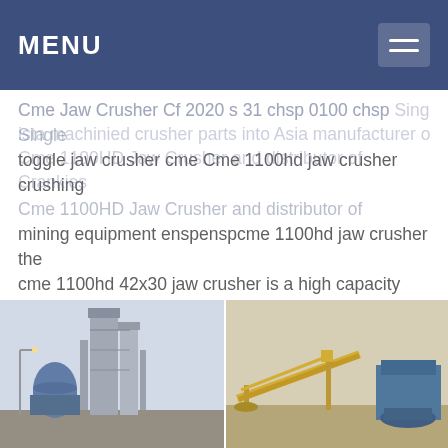MENU
Cme Jaw Crusher Cf 2020 s 31 chsp 0100 chsp Single toggle jaw crusher cme Cme 1100hd jaw crusher crushing mining equipment enspenspcme 1100hd jaw crusher the cme 1100hd 42x30 jaw crusher is a high capacity single toggle jaw crusher designed and manufactured by cme it is suitable for use in both mobile and fixed plant appliions innovative design ...
[Figure (photo): Two industrial mining/crushing facility photos side by side: left shows a tall industrial plant with blue silo structures and a street lamp; right shows yellow conveyor belt equipment and a blue crushing machine at a mining site.]